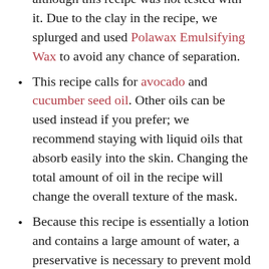although this recipe was not tested with it. Due to the clay in the recipe, we splurged and used Polawax Emulsifying Wax to avoid any chance of separation.
This recipe calls for avocado and cucumber seed oil. Other oils can be used instead if you prefer; we recommend staying with liquid oils that absorb easily into the skin. Changing the total amount of oil in the recipe will change the overall texture of the mask.
Because this recipe is essentially a lotion and contains a large amount of water, a preservative is necessary to prevent mold and bacterial growth. We chose Optiphen, but other preservatives like Phenonip will work. Learn more about preservatives here.
Increase the total amount of clay if you want it to be better suited for oily skin, or decrease the